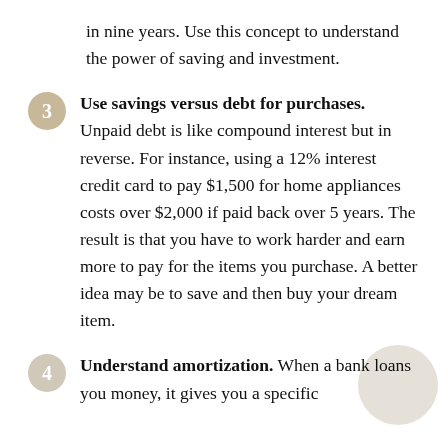in nine years. Use this concept to understand the power of saving and investment.
Use savings versus debt for purchases. Unpaid debt is like compound interest but in reverse. For instance, using a 12% interest credit card to pay $1,500 for home appliances costs over $2,000 if paid back over 5 years. The result is that you have to work harder and earn more to pay for the items you purchase. A better idea may be to save and then buy your dream item.
Understand amortization. When a bank loans you money, it gives you a specific